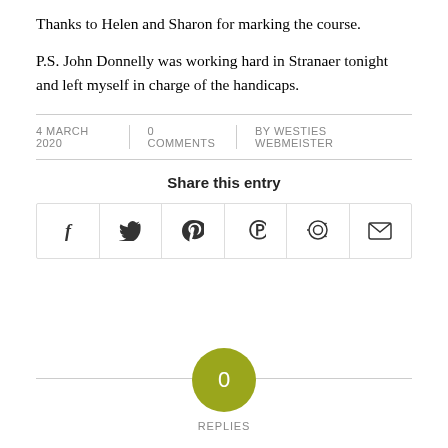Thanks to Helen and Sharon for marking the course.
P.S. John Donnelly was working hard in Stranaer tonight and left myself in charge of the handicaps.
4 MARCH 2020 | 0 COMMENTS | BY WESTIES WEBMEISTER
Share this entry
[Figure (other): Social share icons: Facebook, Twitter, WhatsApp, Pinterest, Reddit, Email]
[Figure (other): Circle badge showing 0 REPLIES]